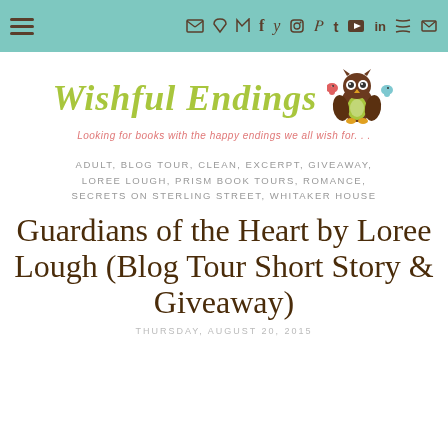Navigation bar with menu and social icons
[Figure (logo): Wishful Endings blog logo with owl illustration and tagline 'Looking for books with the happy endings we all wish for...']
ADULT, BLOG TOUR, CLEAN, EXCERPT, GIVEAWAY, LOREE LOUGH, PRISM BOOK TOURS, ROMANCE, SECRETS ON STERLING STREET, WHITAKER HOUSE
Guardians of the Heart by Loree Lough (Blog Tour Short Story & Giveaway)
THURSDAY, AUGUST 20, 2015